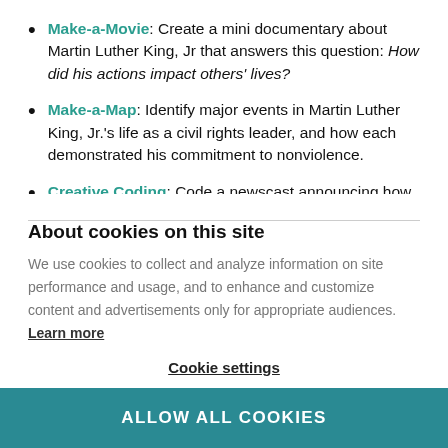Make-a-Movie: Create a mini documentary about Martin Luther King, Jr that answers this question: How did his actions impact others' lives?
Make-a-Map: Identify major events in Martin Luther King, Jr.'s life as a civil rights leader, and how each demonstrated his commitment to nonviolence.
Creative Coding: Code a newscast announcing how Martin Luther King, Jr's nonviolent protests led to Supreme Court…
About cookies on this site
We use cookies to collect and analyze information on site performance and usage, and to enhance and customize content and advertisements only for appropriate audiences. Learn more
Cookie settings
ALLOW ALL COOKIES